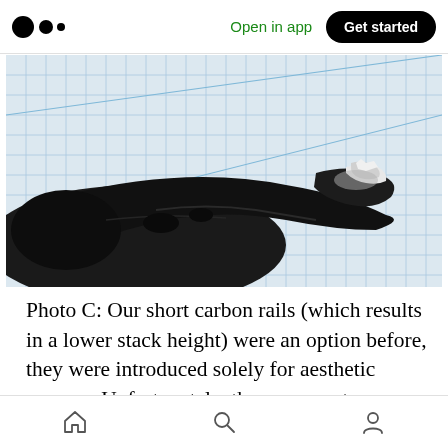Open in app  Get started
[Figure (photo): Close-up photo of a broken carbon rail tip on a bicycle saddle, shown against a blue grid/graph paper background. The rail end is fractured and shows white splintered carbon fiber material at the break point.]
Photo C: Our short carbon rails (which results in a lower stack height) were an option before, they were introduced solely for aesthetic reasons. Unfortunately, they were not compatible with certain types of seatposts, and sometimes
Home  Search  Profile